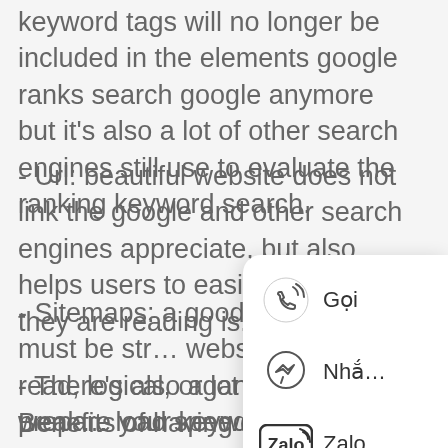keyword tags will no longer be included in the elements google ranks search google anymore but it's also a lot of other search engines still use to evaluate the ranking keyword search.
- Url: beautiful website does not link the google and other search engines appreciate, but also helps users to easily know what they are reading is.
- Sitemaps: a good website must be str... website is easy to read, logical, organize... prepare your keyword helps easily to t... search engines
- There's also a lot of other good weak... load speed, compatible mobile, social,
Benefits of having a standard potentiometer website SEO.
[Figure (infographic): A floating popup/contact widget showing three contact options: a phone icon with label 'Gọi', a Messenger icon with label 'Nhắ...', and a Zalo logo with label 'Zalo']